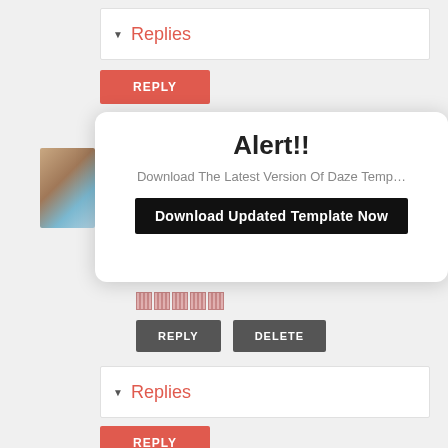▼ Replies
REPLY
Alert!!
Download The Latest Version Of Daze Temp…
Download Updated Template Now
[Figure (photo): User avatar photo of a person]
█████ (redacted name)
REPLY
DELETE
▼ Replies
REPLY